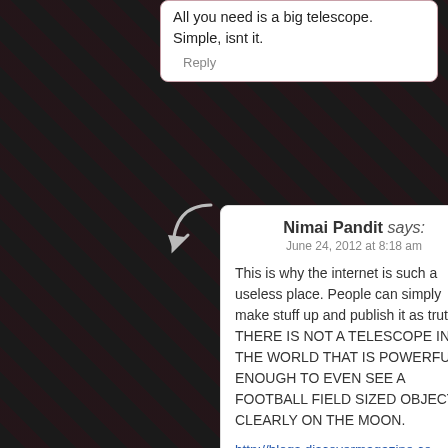All you need is a big telescope. Simple, isnt it.
Reply
Nimai Pandit says:
June 24, 2012 at 8:18 am
This is why the internet is such a useless place. People can simply make stuff up and publish it as truth. THERE IS NOT A TELESCOPE IN THE WORLD THAT IS POWERFUL ENOUGH TO EVEN SEE A FOOTBALL FIELD SIZED OBJECT CLEARLY ON THE MOON.
http://blogs.discovermagazine.com/badastronomy/2008/08/12/moon-hoax-why-not-use-telescopes-to-look-at-the-